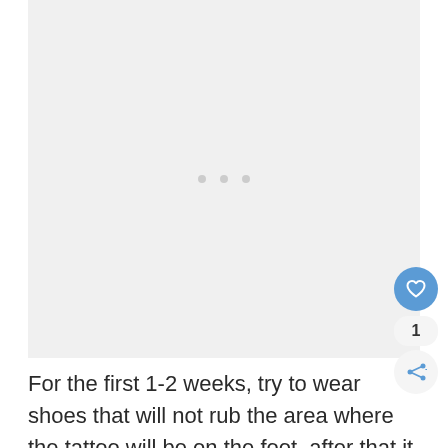[Figure (other): Light gray image placeholder area with three small gray dots centered in the middle, indicating an image loading or unavailable state. Blue heart/like button, like count '1', and share button overlaid on the right side.]
For the first 1-2 weeks, try to wear shoes that will not rub the area where the tattoo will be on the foot, after that it won't matter much, but when